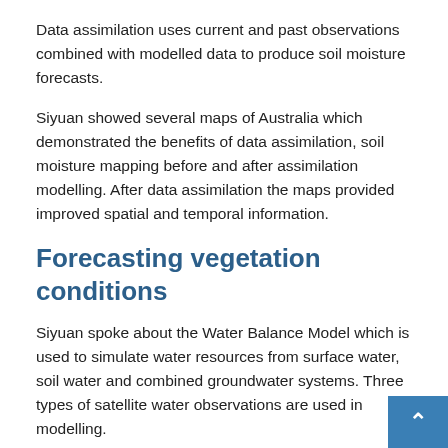Data assimilation uses current and past observations combined with modelled data to produce soil moisture forecasts.
Siyuan showed several maps of Australia which demonstrated the benefits of data assimilation, soil moisture mapping before and after assimilation modelling. After data assimilation the maps provided improved spatial and temporal information.
Forecasting vegetation conditions
Siyuan spoke about the Water Balance Model which is used to simulate water resources from surface water, soil water and combined groundwater systems. Three types of satellite water observations are used in modelling.
Soil Moisture and Ocean Salinity (SMOS) and